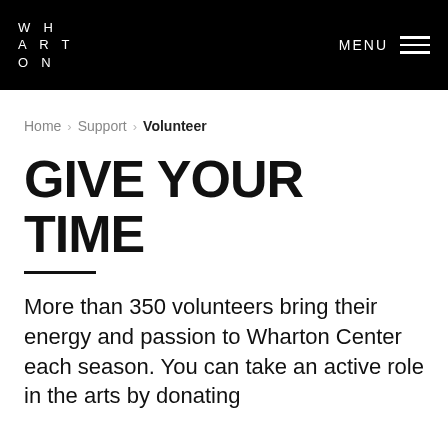WHARTON | MENU
Home > Support > Volunteer
GIVE YOUR TIME
More than 350 volunteers bring their energy and passion to Wharton Center each season. You can take an active role in the arts by donating